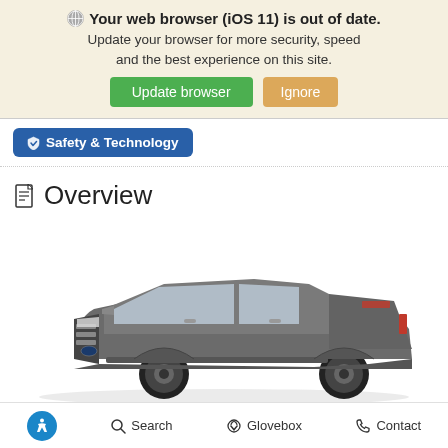Your web browser (iOS 11) is out of date. Update your browser for more security, speed and the best experience on this site.
Update browser | Ignore
Safety & Technology
Overview
[Figure (photo): Gray Ford Ranger pickup truck, three-quarter front view on white background]
Search  Glovebox  Contact